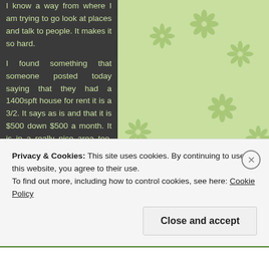I know a way from where I am trying to go look at places and talk to people. It makes it so hard.

I found something that someone posted today saying that they had a 1400spft house for rent it is a 3/2. It says as is and that it is $500 down $500 a month. It is in a really nice area too. Ex called and talk to the lady about it and she said that it needed a fridge when he asked her what was wrong with it or what it needed. Houses in that area go for a lot more than that so i think it needs more than just a fridge. But at the same time she is coming about 60 miles a way to show it to us so I would think if it was to bad
Privacy & Cookies: This site uses cookies. By continuing to use this website, you agree to their use.
To find out more, including how to control cookies, see here: Cookie Policy